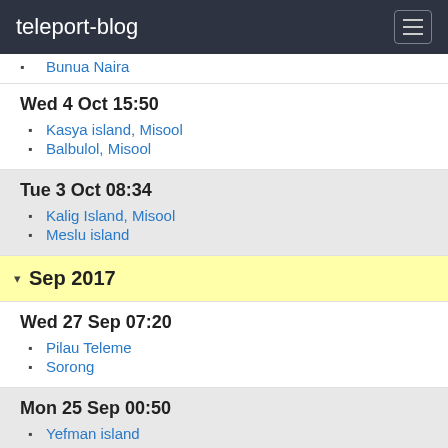teleport-blog
Bunua Naira
Wed 4 Oct 15:50
Kasya island, Misool
Balbulol, Misool
Tue 3 Oct 08:34
Kalig Island, Misool
Meslu island
Sep 2017
Wed 27 Sep 07:20
Pilau Teleme
Sorong
Mon 25 Sep 00:50
Yefman island
Sat 23 Sep 07:43
Matan island
Wed 20 Sep 10:43